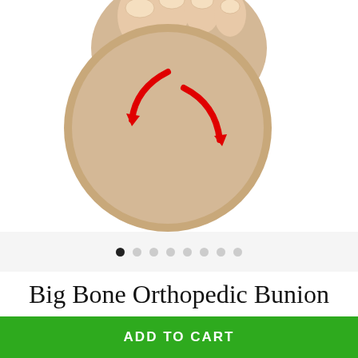[Figure (photo): Close-up photo of toes wearing a beige bunion corrector silicone sock, with two red curved arrows indicating corrective movement direction]
[Figure (infographic): Carousel navigation dots — 8 dots, first one filled/active (black), remaining 7 inactive (grey)]
Big Bone Orthopedic Bunion Corrector Silicone Socks
★★★★★ (14)
ADD TO CART